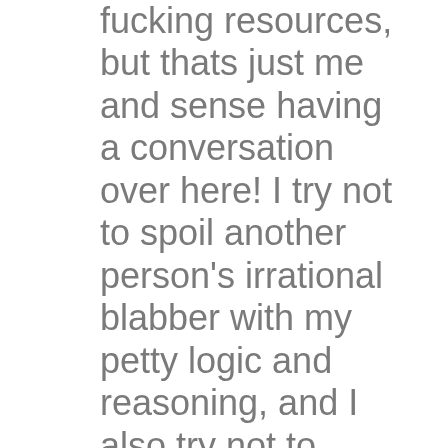fucking resources, but thats just me and sense having a conversation over here! I try not to spoil another person's irrational blabber with my petty logic and reasoning, and I also try not to impune their impotent sky cop by constantly questioning HIS grace and power either. I just would love to have some insight as to why people have to make up fantastic stories to make themselves feel secure instead of looking to each other for strength. Sky Daddy is gone! The smoke and mirrors have gathered layers of dust while God has trimmed the long white hair into a mohawk and gone off to follow The Stones on their last tour! The ticket booth is empty and the great theater of life is no longer seating for the reading of The Book of Life! Yes your gonna burn, but only when your cremated by a relative trying to save 12